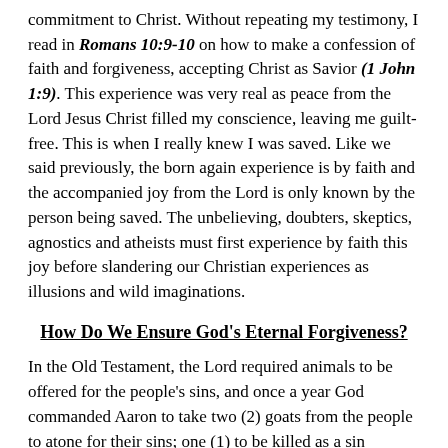commitment to Christ. Without repeating my testimony, I read in Romans 10:9-10 on how to make a confession of faith and forgiveness, accepting Christ as Savior (1 John 1:9). This experience was very real as peace from the Lord Jesus Christ filled my conscience, leaving me guilt-free. This is when I really knew I was saved. Like we said previously, the born again experience is by faith and the accompanied joy from the Lord is only known by the person being saved. The unbelieving, doubters, skeptics, agnostics and atheists must first experience by faith this joy before slandering our Christian experiences as illusions and wild imaginations.
How Do We Ensure God's Eternal Forgiveness?
In the Old Testament, the Lord required animals to be offered for the people's sins, and once a year God commanded Aaron to take two (2) goats from the people to atone for their sins; one (1) to be killed as a sin offering and the other one (1) for Aaron to lay his hands on and confess all the sins of the people of Israel to God. The goat (or "scapegoat") carried all their sins on itself to a place where there were no people (Leviticus 16:15, 20-22). But under the new covenant, Christ took all our sins upon Himself through